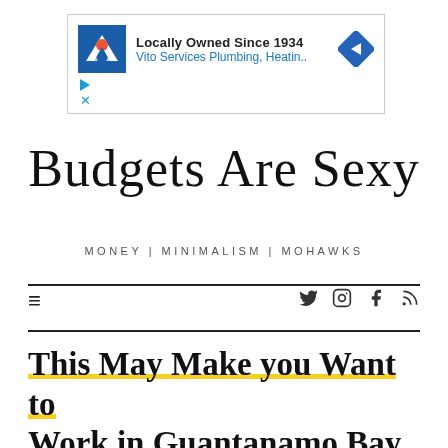[Figure (other): Advertisement banner for Vito Services Plumbing, Heating - Locally Owned Since 1934]
Budgets Are Sexy
MONEY | MINIMALISM | MOHAWKS
[Figure (other): Navigation bar with hamburger menu icon on left and social media icons (Twitter, Instagram, Facebook, RSS) on right]
This May Make you Want to Work in Guantanamo Bay